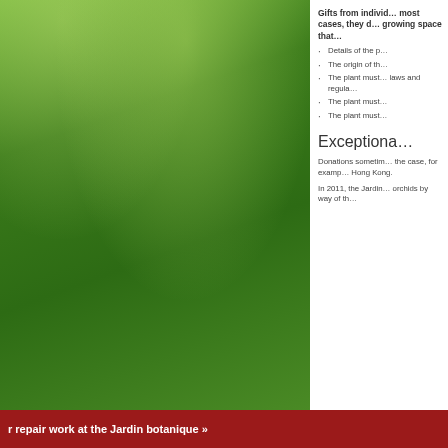[Figure (photo): Green botanical garden foliage photo on the left side of the page]
Gifts from individ… most cases, they d… growing space that…
Details of the p…
The origin of th…
The plant must… laws and regula…
The plant must…
The plant must…
Exceptiona…
Donations sometim… the case, for examp… Hong Kong.
In 2011, the Jardin… orchids by way of th…
r repair work at the Jardin botanique »